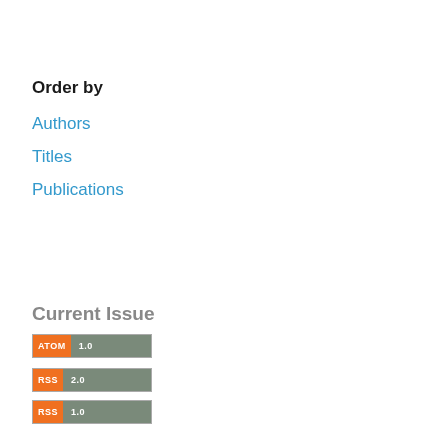Order by
Authors
Titles
Publications
Current Issue
[Figure (other): ATOM 1.0 feed badge — orange label 'ATOM' and grey version '1.0']
[Figure (other): RSS 2.0 feed badge — orange label 'RSS' and grey version '2.0']
[Figure (other): RSS 1.0 feed badge — orange label 'RSS' and grey version '1.0']